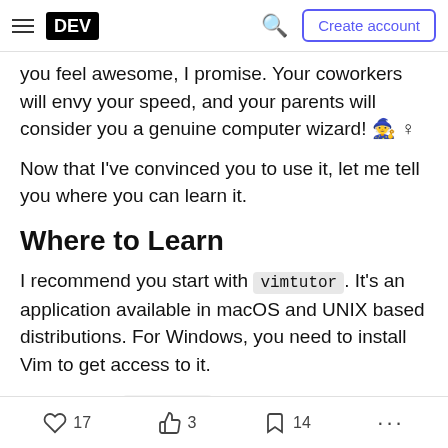DEV — Create account
you feel awesome, I promise. Your coworkers will envy your speed, and your parents will consider you a genuine computer wizard! 🧙
Now that I've convinced you to use it, let me tell you where you can learn it.
Where to Learn
I recommend you start with vimtutor. It's an application available in macOS and UNIX based distributions. For Windows, you need to install Vim to get access to it.
Simply type vimtutor in your terminal to start
17 likes  3 reactions  14 bookmarks